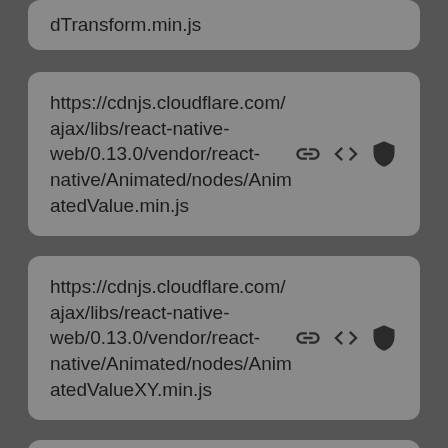dTransform.min.js
https://cdnjs.cloudflare.com/ajax/libs/react-native-web/0.13.0/vendor/react-native/Animated/nodes/AnimatedValue.min.js
https://cdnjs.cloudflare.com/ajax/libs/react-native-web/0.13.0/vendor/react-native/Animated/nodes/AnimatedValueXY.min.js
https://cdnjs.cloudflare.com/ajax/libs/react-native-web/0.13.0/vendor/react-native/Animated/nodes/...